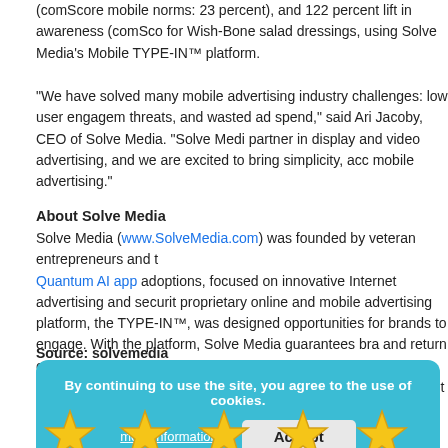(comScore mobile norms: 23 percent), and 122 percent lift in awareness (comScore for Wish-Bone salad dressings, using Solve Media's Mobile TYPE-IN™ platform.
"We have solved many mobile advertising industry challenges: low user engagement, threats, and wasted ad spend," said Ari Jacoby, CEO of Solve Media. "Solve Media is a partner in display and video advertising, and we are excited to bring simplicity, accountability to mobile advertising."
About Solve Media
Solve Media (www.SolveMedia.com) was founded by veteran entrepreneurs and the Quantum AI app adoptions, focused on innovative Internet advertising and security. Its proprietary online and mobile advertising platform, the TYPE-IN™, was designed to create opportunities for brands to engage. With the platform, Solve Media guarantees brand safety and return on investment for advertisers. Additionally, the platform creates new revenue for publishers, and saves time for consumers. Backed by First Round Capital, New A Bullpen Capital and prominent angel investors, Solve Media is based in New York.
Source: solvemedia
By continuing to use the site, you agree to the use of cookies.
more information   Accept